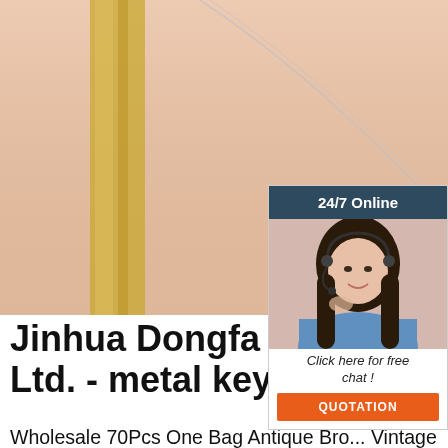[Figure (photo): Photo of a woman's décolletage wearing a silver necklace with a pendant, with a gold strap visible. Skin-tone background with warm lighting.]
[Figure (photo): 24/7 Online chat widget showing a smiling female customer service agent wearing a headset, with '24/7 Online' header, 'Click here for free chat!' text, and an orange 'QUOTATION' button.]
Jinhua Dongfa Art&Cra... Ltd. - metal keychain ...
Wholesale 70Pcs One Bag Antique Bro... Vintage Key Shaped Pendant Diy Pend... Charms Decorations Bronze Keys. $2.80 - $8.00 Bag. 10 Bags (Min. Order) Luxury Handmade PU Leather Horse Keyring Animal Key Chain Wo... Bag Charm Pendant Accessories Horse Keychain. $0.75 - $0.90 Piece.